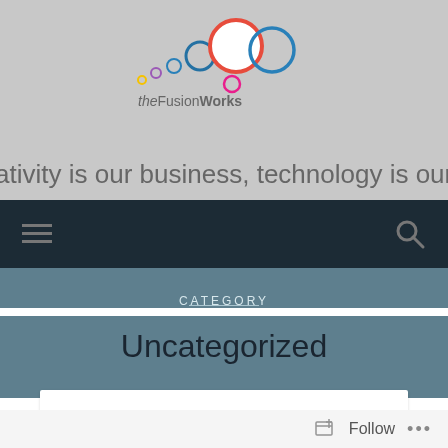[Figure (logo): theFusionWorks logo with colorful overlapping circles above the text 'theFusionWorks']
reativity is our business, technology is our canva
[Figure (other): Dark navigation bar with hamburger menu icon on left and search icon on right]
CATEGORY
Uncategorized
[Figure (screenshot): White card area partially visible at bottom]
Follow ...